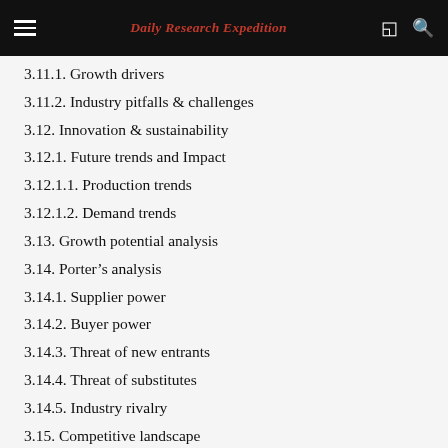Daily Research Expedition
3.11.1. Growth drivers
3.11.2. Industry pitfalls & challenges
3.12. Innovation & sustainability
3.12.1. Future trends and Impact
3.12.1.1. Production trends
3.12.1.2. Demand trends
3.13. Growth potential analysis
3.14. Porter's analysis
3.14.1. Supplier power
3.14.2. Buyer power
3.14.3. Threat of new entrants
3.14.4. Threat of substitutes
3.14.5. Industry rivalry
3.15. Competitive landscape
3.15.1. Company market share analysis, 2019
3.15.2. Strategy landscape